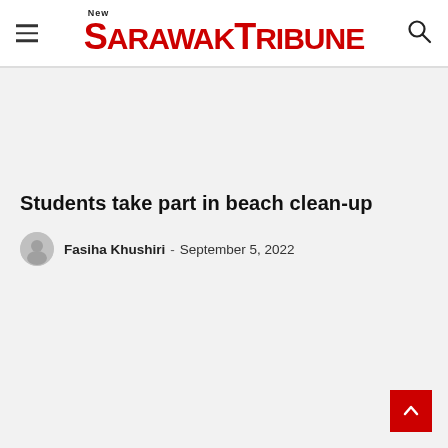New Sarawak Tribune
Students take part in beach clean-up
Fasiha Khushiri - September 5, 2022